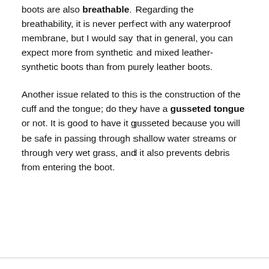boots are also breathable. Regarding the breathability, it is never perfect with any waterproof membrane, but I would say that in general, you can expect more from synthetic and mixed leather-synthetic boots than from purely leather boots.
Another issue related to this is the construction of the cuff and the tongue; do they have a gusseted tongue or not. It is good to have it gusseted because you will be safe in passing through shallow water streams or through very wet grass, and it also prevents debris from entering the boot.